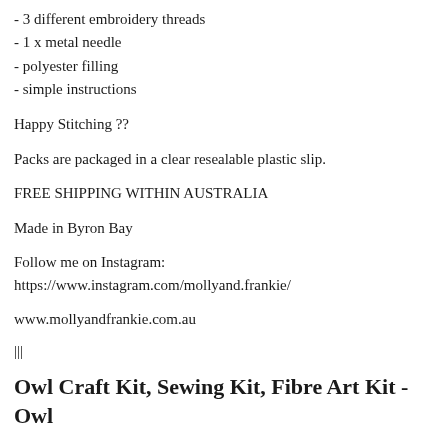- 3 different embroidery threads
- 1 x metal needle
- polyester filling
- simple instructions
Happy Stitching ??
Packs are packaged in a clear resealable plastic slip.
FREE SHIPPING WITHIN AUSTRALIA
Made in Byron Bay
Follow me on Instagram:
https://www.instagram.com/mollyand.frankie/
www.mollyandfrankie.com.au
|||
Owl Craft Kit, Sewing Kit, Fibre Art Kit - Owl